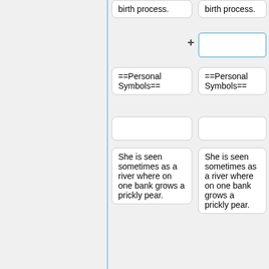birth process.
birth process.
==Personal Symbols==
==Personal Symbols==
She is seen sometimes as a river where on one bank grows a prickly pear.
She is seen sometimes as a river where on one bank grows a prickly pear.
==Earth Mythological References==
==Earth Mythological References==
According to the Aztecs, the world
According to the Aztecs, the world